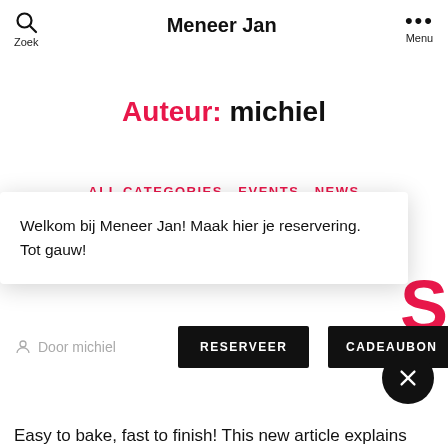Zoek   Meneer Jan   Menu
Auteur: michiel
ALL CATEGORIES  EVENTS  NEWS
Welkom bij Meneer Jan! Maak hier je reservering.
Tot gauw!
Door michiel
RESERVEER
CADEAUBON
Easy to bake, fast to finish! This new article explains